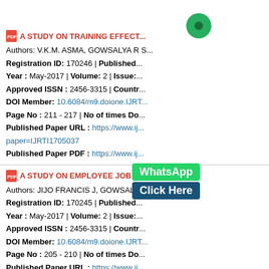A STUDY ON TRAINING EFFECT... Authors: V.K.M. ASMA, GOWSALYA R S... Registration ID: 170246 | Published... Year: May-2017 | Volume: 2 | Issue:... Approved ISSN: 2456-3315 | Countr... DOI Member: 10.6084/m9.doione.IJRT... Page No: 211 - 217 | No of times Do... Published Paper URL: https://www.ij... paper=IJRTI1705037 Published Paper PDF: https://www.ij...
A STUDY ON EMPLOYEE JOB R... Authors: JIJO FRANCIS J, GOWSALYA... Registration ID: 170245 | Published... Year: May-2017 | Volume: 2 | Issue:... Approved ISSN: 2456-3315 | Countr... DOI Member: 10.6084/m9.doione.IJRT... Page No: 205 - 210 | No of times Do... Published Paper URL: https://www.ij...